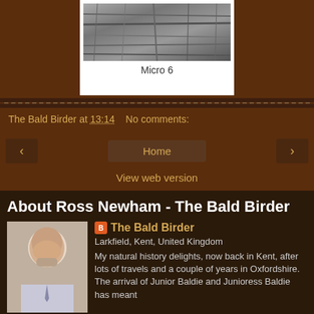[Figure (photo): Close-up photo of textured tree bark or wood grain, black and white]
Micro 6
The Bald Birder at 13:14   No comments:
Home
View web version
About Ross Newham - The Bald Birder
[Figure (photo): Profile photo of a bald middle-aged man with a beard, wearing a light shirt and tie, smiling]
The Bald Birder
Larkfield, Kent, United Kingdom
My natural history delights, now back in Kent, after lots of travels and a couple of years in Oxfordshire. The arrival of Junior Baldie and Junioress Baldie has meant a change to my natural history habits - gone, for the time being, is all-day ringing and in place? Moths...